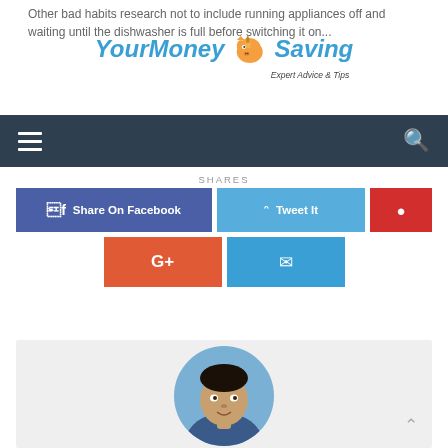Other bad habits research not to include running appliances off and waiting until the dishwasher is full before switching it on...
[Figure (logo): YourMoneySaving logo with pig mascot and tagline 'Expert Advice & Tips']
[Figure (screenshot): Navigation bar with hamburger menu icon and search icon on dark blue background]
SHARES
[Figure (infographic): Social share buttons: Share On Facebook (blue), Tweet It (light blue), Pinterest (red), Google+ (orange-red), Email (blue)]
[Figure (photo): Author profile photo of a smiling man in a circular crop, shown from shoulders up]